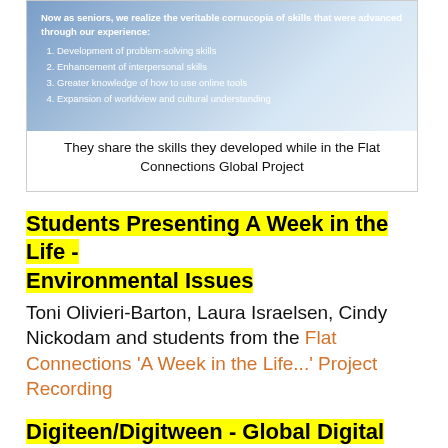[Figure (screenshot): Slide showing text: 'Now as seniors, we realize the veritable cornucopia of skills that were advanced through our experience:' with a numbered list: 1. Development of problem-solving skills, 2. Enhancement of interpersonal skills, 3. Greater knowledge of how to use online tools, 4. Expansion of worldview and cultural understanding]
They share the skills they developed while in the Flat Connections Global Project
Students Presenting A Week in the Life - Environmental Issues
Toni Olivieri-Barton, Laura Israelsen, Cindy Nickodam and students from the Flat Connections 'A Week in the Life...' Project Recording
Digiteen/Digitween - Global Digital Citizenship Project
Theresa Allen and Helen McConaghy and students from the Flat Connections Digiteen/Digitween Projects